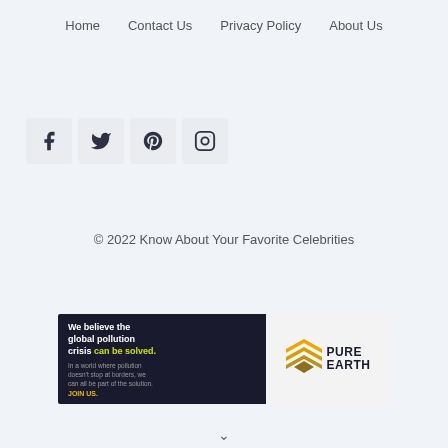Home   Contact Us   Privacy Policy   About Us
[Figure (other): Social media icons: Facebook, Twitter, Pinterest, Instagram]
© 2022 Know About Your Favorite Celebrities
[Figure (other): Pure Earth advertisement banner: 'We believe the global pollution crisis can be solved. In a world where pollution doesn't stop at borders, we can all be part of the solution. JOIN US.' with Pure Earth logo.]